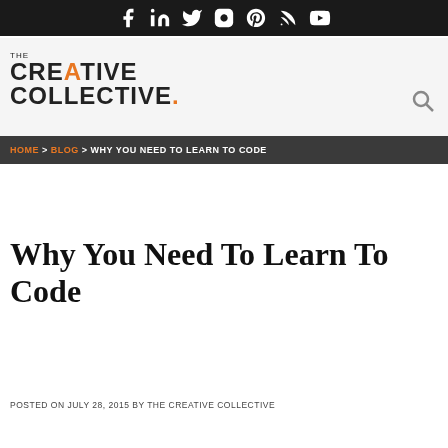Social media icons: Facebook, LinkedIn, Twitter, Instagram, Pinterest, RSS, YouTube
[Figure (logo): THE CREATIVE COLLECTIVE logo with orange A in CREATIVE and orange dot after COLLECTIVE]
HOME > BLOG > WHY YOU NEED TO LEARN TO CODE
Why You Need To Learn To Code
POSTED ON JULY 28, 2015 BY THE CREATIVE COLLECTIVE